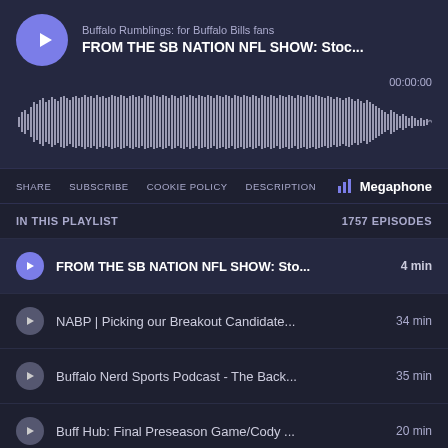Buffalo Rumblings: for Buffalo Bills fans
FROM THE SB NATION NFL SHOW: Stoc...
00:00:00
[Figure (other): Audio waveform visualization showing varying amplitude bars in white/light gray on dark background]
SHARE  SUBSCRIBE  COOKIE POLICY  DESCRIPTION
[Figure (logo): Megaphone logo with bar chart icon in purple and white text]
IN THIS PLAYLIST
1757 EPISODES
FROM THE SB NATION NFL SHOW: Sto...  4 min
NABP | Picking our Breakout Candidate...  34 min
Buffalo Nerd Sports Podcast - The Back...  35 min
Buff Hub: Final Preseason Game/Cody ...  20 min